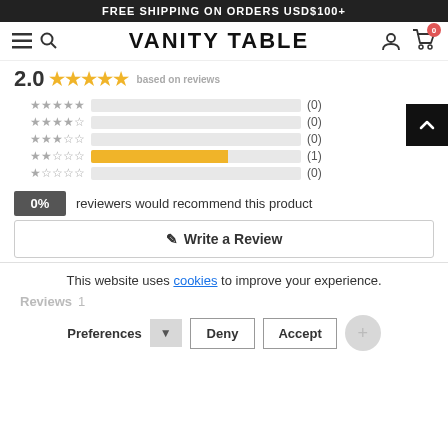FREE SHIPPING ON ORDERS USD$100+
[Figure (screenshot): Vanity Table e-commerce navigation bar with hamburger menu, search icon, brand name VANITY TABLE, user account icon, and shopping cart with 0 items badge]
2.0 ★★★★★ based on reviews
[Figure (bar-chart): Star rating distribution]
0% reviewers would recommend this product
✎ Write a Review
This website uses cookies to improve your experience.
Reviews 1
Preferences ▼ Add | Deny | Discard | Accept +